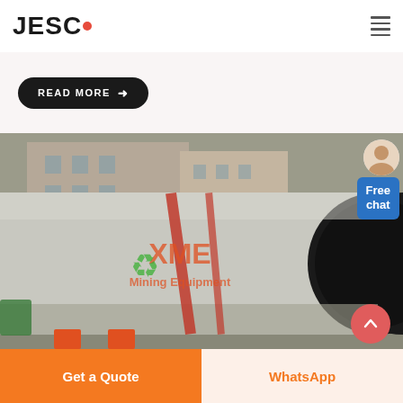JESCO
READ MORE →
[Figure (photo): Large industrial rotary drum/tube mill equipment lying horizontally on supports in an outdoor factory yard. The grey cylindrical drum bears a red XME Mining Equipment watermark/logo. Red strapping bands are visible around the cylinder. Factory buildings are in the background.]
Free chat
Get a Quote
WhatsApp